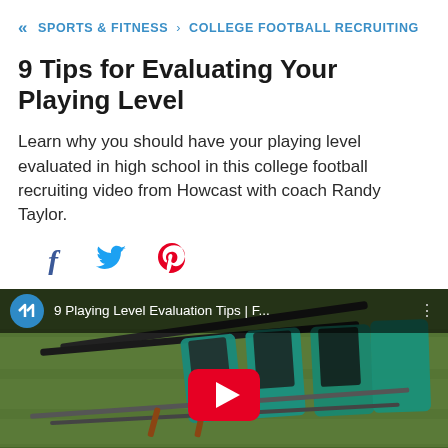« SPORTS & FITNESS › COLLEGE FOOTBALL RECRUITING
9 Tips for Evaluating Your Playing Level
Learn why you should have your playing level evaluated in high school in this college football recruiting video from Howcast with coach Randy Taylor.
[Figure (other): Social sharing icons: Facebook, Twitter, Pinterest]
[Figure (screenshot): YouTube video thumbnail showing football training sleds on a grass field. Video title bar reads '9 Playing Level Evaluation Tips | F...' with a Howcast logo icon. Red YouTube play button in center.]